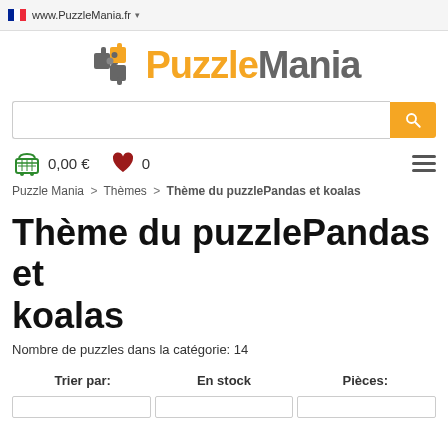www.PuzzleMania.fr
[Figure (logo): PuzzleMania logo with gray puzzle piece icon and orange/gray text]
[Figure (screenshot): Search bar with yellow search button]
0,00 €   0
Puzzle Mania > Thèmes > Thème du puzzlePandas et koalas
Thème du puzzlePandas et koalas
Nombre de puzzles dans la catégorie: 14
Trier par:   En stock   Pièces: